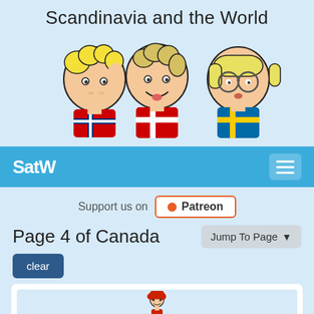Scandinavia and the World
[Figure (illustration): Three cartoon characters with blonde hair wearing Scandinavian flags as shirts (Norway, Denmark, Sweden from left to right), drawn in a simple comic style on a light blue background.]
SatW
Support us on Patreon
Page 4 of Canada
Jump To Page
clear
[Figure (illustration): A small comic panel showing a character with red hair and a speech bubble. Below the character is text: 'I'm sorry to tell you this, Finland, but you're wrong. SatW first in Sweden.']